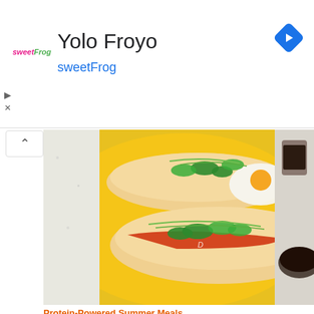[Figure (screenshot): Advertisement banner for Yolo Froyo / sweetFrog with logo, title text, blue subtitle, and blue diamond navigation arrow on the right.]
Yolo Froyo
sweetFrog
[Figure (photo): Top-down photo of two hot dogs in buns on a bright yellow plate, topped with jalapeño slices, green onions, fried egg, and red sauce, with dipping sauce in a jar on the side.]
Protein-Powered Summer Meals
[Figure (photo): Top-down photo of a bowl of penne pasta with orange-red tomato sauce and fresh basil, with a small bowl of dried red chili flakes and a spatula on a white surface.]